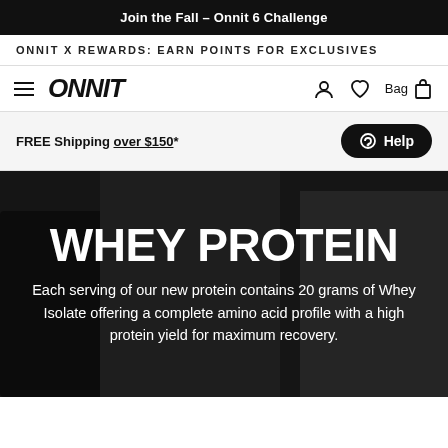Join the Fall – Onnit 6 Challenge
ONNIT X REWARDS: EARN POINTS FOR EXCLUSIVES
[Figure (logo): Onnit logo with hamburger menu, user icon, heart icon, and Bag with 0 items]
FREE Shipping over $150*
Help
WHEY PROTEIN
Each serving of our new protein contains 20 grams of Whey Isolate offering a complete amino acid profile with a high protein yield for maximum recovery.